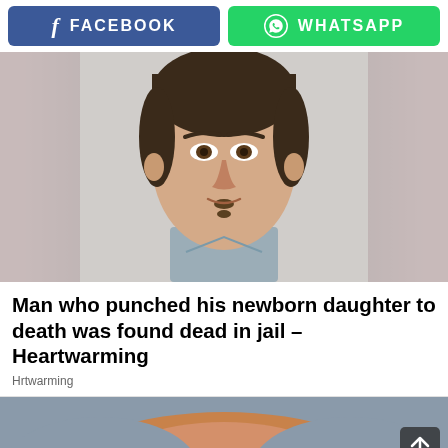FACEBOOK | WHATSAPP
[Figure (photo): Mugshot-style photo of a young man with dark hair and slight facial stubble, wearing a grey t-shirt, against a light background]
Man who punched his newborn daughter to death was found dead in jail – Heartwarming
Hrtwarming
[Figure (photo): Partial top-of-head view of a person with reddish-blonde hair, partially visible]